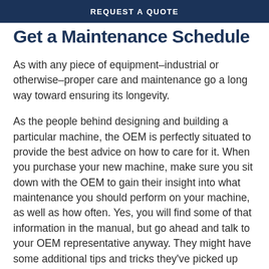REQUEST A QUOTE
Get a Maintenance Schedule
As with any piece of equipment–industrial or otherwise–proper care and maintenance go a long way toward ensuring its longevity.
As the people behind designing and building a particular machine, the OEM is perfectly situated to provide the best advice on how to care for it. When you purchase your new machine, make sure you sit down with the OEM to gain their insight into what maintenance you should perform on your machine, as well as how often. Yes, you will find some of that information in the manual, but go ahead and talk to your OEM representative anyway. They might have some additional tips and tricks they've picked up along the way.